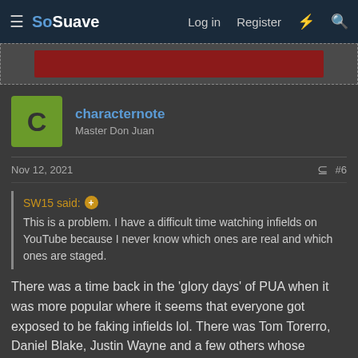SoSuave — Log in  Register
[Figure (other): Red advertisement banner]
characternote
Master Don Juan
Nov 12, 2021  #6
SW15 said: ⊕
This is a problem. I have a difficult time watching infields on YouTube because I never know which ones are real and which ones are staged.
There was a time back in the 'glory days' of PUA when it was more popular where it seems that everyone got exposed to be faking infields lol. There was Tom Torerro, Daniel Blake, Justin Wayne and a few others whose names